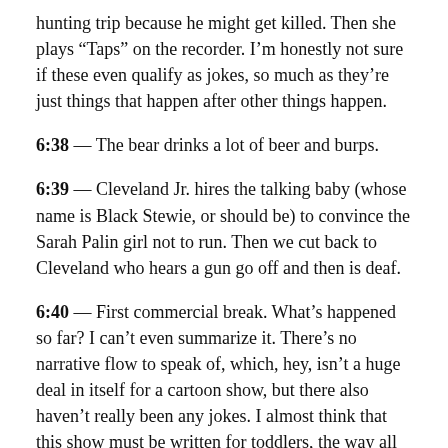hunting trip because he might get killed. Then she plays “Taps” on the recorder. I’m honestly not sure if these even qualify as jokes, so much as they’re just things that happen after other things happen.
6:38 — The bear drinks a lot of beer and burps.
6:39 — Cleveland Jr. hires the talking baby (whose name is Black Stewie, or should be) to convince the Sarah Palin girl not to run. Then we cut back to Cleveland who hears a gun go off and then is deaf.
6:40 — First commercial break. What’s happened so far? I can’t even summarize it. There’s no narrative flow to speak of, which, hey, isn’t a huge deal in itself for a cartoon show, but there also haven’t really been any jokes. I almost think that this show must be written for toddlers, the way all the jokes seem to have the word “fart” or the sound of a burp